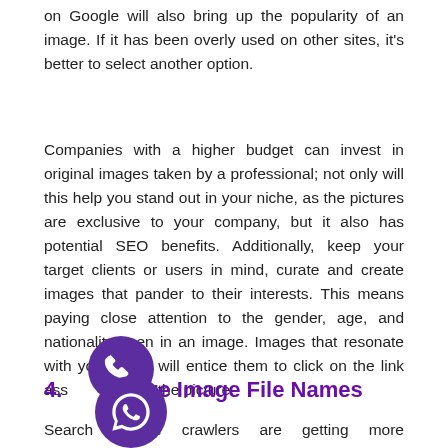on Google will also bring up the popularity of an image. If it has been overly used on other sites, it's better to select another option.
Companies with a higher budget can invest in original images taken by a professional; not only will this help you stand out in your niche, as the pictures are exclusive to your company, but it also has potential SEO benefits. Additionally, keep your target clients or users in mind, curate and create images that pander to their interests. This means paying close attention to the gender, age, and nationality seen in an image. Images that resonate with your users will entice them to click on the link associated with the picture.
4. Optimize Image File Names
Search Engine crawlers are getting more sophisticated